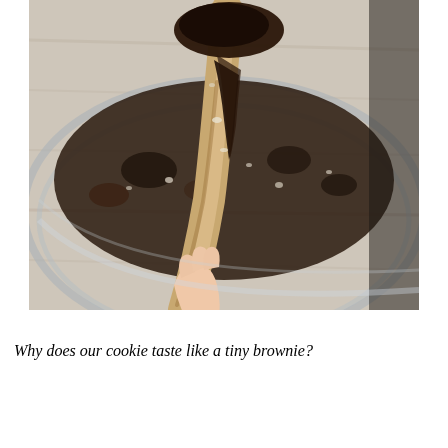[Figure (photo): A hand holding a wooden spoon with dark chocolate brownie batter dripping from it, over a glass mixing bowl with chocolate batter inside, on a white rustic wooden surface.]
Why does our cookie taste like a tiny brownie?